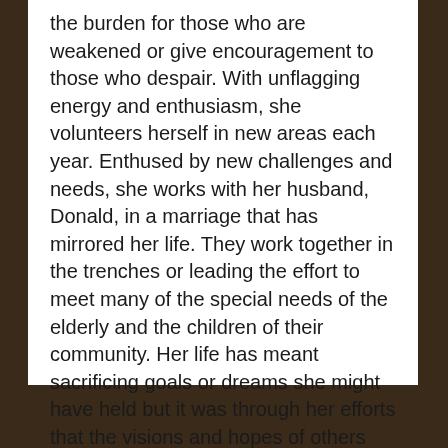the burden for those who are weakened or give encouragement to those who despair. With unflagging energy and enthusiasm, she volunteers herself in new areas each year. Enthused by new challenges and needs, she works with her husband, Donald, in a marriage that has mirrored her life. They work together in the trenches or leading the effort to meet many of the special needs of the elderly and the children of their community. Her life has meant sacrificing goals or dreams she might have held but it was through her efforts that the visions and hopes of others were realized.
7/1/96